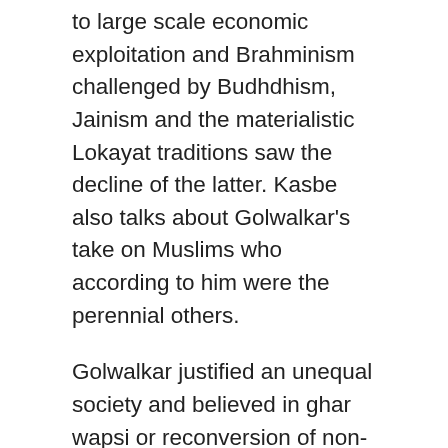to large scale economic exploitation and Brahminism challenged by Budhdhism, Jainism and the materialistic Lokayat traditions saw the decline of the latter. Kasbe also talks about Golwalkar's take on Muslims who according to him were the perennial others.
Golwalkar justified an unequal society and believed in ghar wapsi or reconversion of non-Hindus, especially the backward castes. Interestingly, Kasbe differentiates between Golwalkar and Savarkar and believes that Savarkar was more politically pragmatic. Written in 1978, the book also did not talk about the inroads that the Sangh made even amongst Muslims by forming a minority wing. While Kasbe rightly pointed out that the rise of Hindu communalism fed into the concerns of Muslims